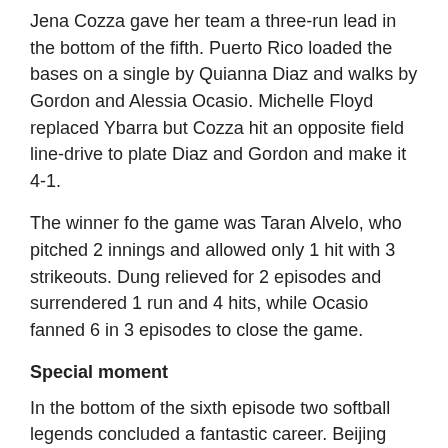Jena Cozza gave her team a three-run lead in the bottom of the fifth. Puerto Rico loaded the bases on a single by Quianna Diaz and walks by Gordon and Alessia Ocasio. Michelle Floyd replaced Ybarra but Cozza hit an opposite field line-drive to plate Diaz and Gordon and make it 4-1.
The winner fo the game was Taran Alvelo, who pitched 2 innings and allowed only 1 hit with 3 strikeouts. Dung relieved for 2 episodes and surrendered 1 run and 4 hits, while Ocasio fanned 6 in 3 episodes to close the game.
Special moment
In the bottom of the sixth episode two softball legends concluded a fantastic career. Beijing 2008 Olympians Maria Soto and Denisse Fuenmayor retired from the Venezuelan National Team, receiving a standing ovation. A nice ending for two brilliant careers.